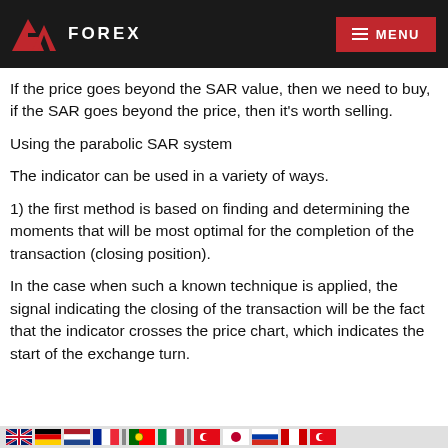AZA FOREX  MENU
If the price goes beyond the SAR value, then we need to buy, if the SAR goes beyond the price, then it's worth selling.
Using the parabolic SAR system
The indicator can be used in a variety of ways.
1) the first method is based on finding and determining the moments that will be most optimal for the completion of the transaction (closing position).
In the case when such a known technique is applied, the signal indicating the closing of the transaction will be the fact that the indicator crosses the price chart, which indicates the start of the exchange turn.
[flag icons row]